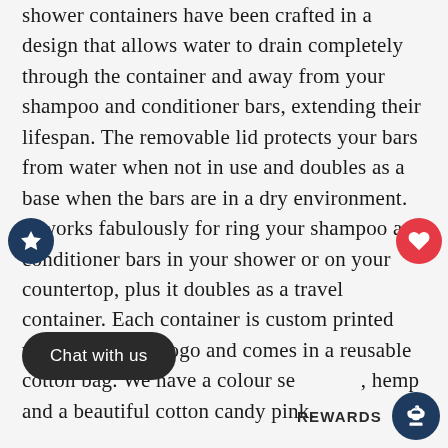shower containers have been crafted in a design that allows water to drain completely through the container and away from your shampoo and conditioner bars, extending their lifespan. The removable lid protects your bars from water when not in use and doubles as a base when the bars are in a dry environment. It works fabulously for ring your shampoo and conditioner bars in your shower or on your countertop, plus it doubles as a travel container. Each container is custom printed with the Jack59 logo and comes in a reusable cotton bag. We have a colour se, hemp and a beautiful cotton candy pink.